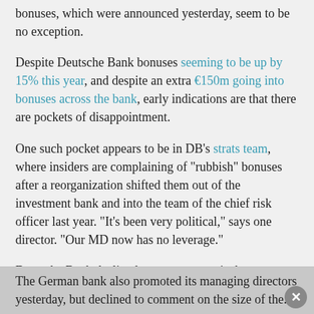bonuses, which were announced yesterday, seem to be no exception.
Despite Deutsche Bank bonuses seeming to be up by 15% this year, and despite an extra €150m going into bonuses across the bank, early indications are that there are pockets of disappointment.
One such pocket appears to be in DB's strats team, where insiders are complaining of "rubbish" bonuses after a reorganization shifted them out of the investment bank and into the team of the chief risk officer last year. "It's been very political," says one director. "Our MD now has no leverage."
Deutsche Bank declined to comment on its bonuses, which are likely to be higher in areas like M&A and fixed income trading, which did comparatively well last year.
The German bank also promoted its managing directors yesterday, but declined to comment on the size of the...